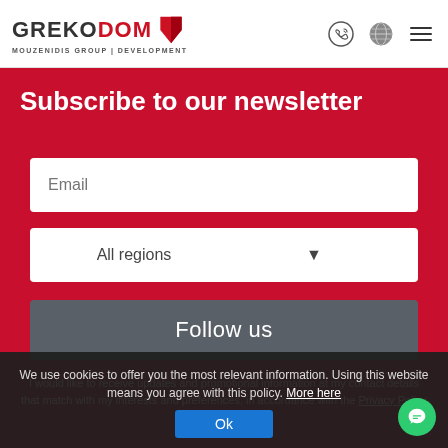[Figure (logo): Grekodom logo with red arrow and text 'MOUZENIDIS GROUP | DEVELOPMENT']
Subscribe to our newsletter
Email (input field)
All regions (dropdown)
Follow us (button)
I would like to receive updates and promotional information at my contact details that match with my interests and preferences, in accordance with the Privacy Policy
We use cookies to offer you the most relevant information. Using this website means you agree with this policy. More here
Ok